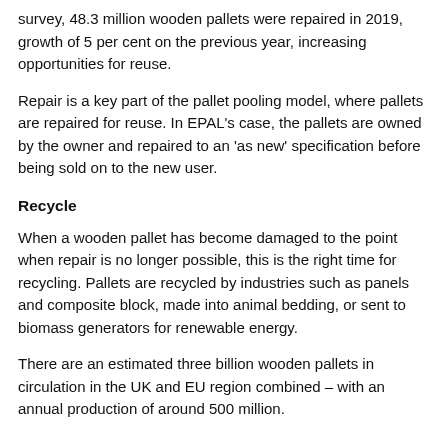survey, 48.3 million wooden pallets were repaired in 2019, growth of 5 per cent on the previous year, increasing opportunities for reuse.
Repair is a key part of the pallet pooling model, where pallets are repaired for reuse. In EPAL's case, the pallets are owned by the owner and repaired to an 'as new' specification before being sold on to the new user.
Recycle
When a wooden pallet has become damaged to the point when repair is no longer possible, this is the right time for recycling. Pallets are recycled by industries such as panels and composite block, made into animal bedding, or sent to biomass generators for renewable energy.
There are an estimated three billion wooden pallets in circulation in the UK and EU region combined – with an annual production of around 500 million.